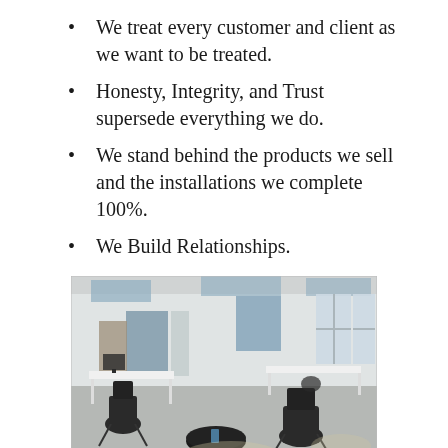We treat every customer and client as we want to be treated.
Honesty, Integrity, and Trust supersede everything we do.
We stand behind the products we sell and the installations we complete 100%.
We Build Relationships.
[Figure (photo): Interior photo of a modern open-plan office space with white walls, grey floor, black lounge chairs, a round black coffee table, white desks with computers, and blue acoustic ceiling panels and window blinds.]
Easy Carpet and Flooring